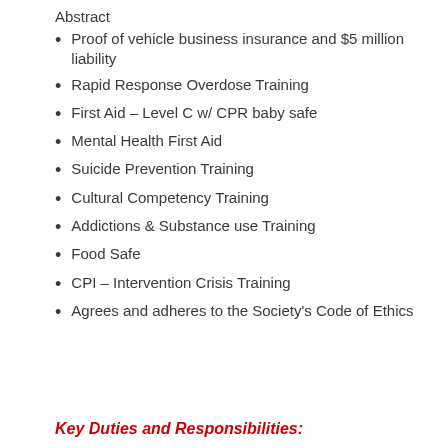Abstract
Proof of vehicle business insurance and $5 million liability
Rapid Response Overdose Training
First Aid – Level C w/ CPR baby safe
Mental Health First Aid
Suicide Prevention Training
Cultural Competency Training
Addictions & Substance use Training
Food Safe
CPI – Intervention Crisis Training
Agrees and adheres to the Society's Code of Ethics
Key Duties and Responsibilities: